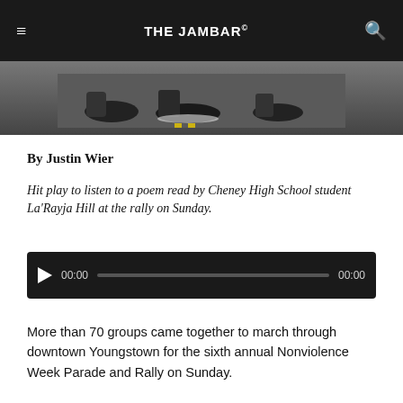THE JAMBAR
[Figure (photo): Cropped photo showing feet and shoes on pavement with a yellow line, people at a march or rally]
By Justin Wier
Hit play to listen to a poem read by Cheney High School student La'Rayja Hill at the rally on Sunday.
[Figure (other): Audio player widget with play button, 00:00 timestamp, progress bar, and 00:00 end time, dark background]
More than 70 groups came together to march through downtown Youngstown for the sixth annual Nonviolence Week Parade and Rally on Sunday.